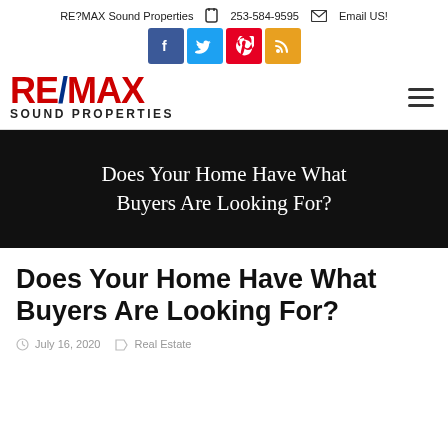RE?MAX Sound Properties  253-584-9595  Email US!
[Figure (logo): Social media icons row: Facebook (blue), Twitter (light blue), Pinterest (red), RSS (orange)]
[Figure (logo): RE/MAX Sound Properties logo with red RE/MAX text and blue slash, with SOUND PROPERTIES subtitle and hamburger menu icon]
Does Your Home Have What Buyers Are Looking For?
Does Your Home Have What Buyers Are Looking For?
July 16, 2020   Real Estate